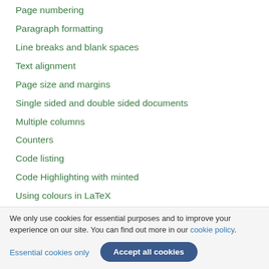Page numbering
Paragraph formatting
Line breaks and blank spaces
Text alignment
Page size and margins
Single sided and double sided documents
Multiple columns
Counters
Code listing
Code Highlighting with minted
Using colours in LaTeX
Footnotes
Margin notes
We only use cookies for essential purposes and to improve your experience on our site. You can find out more in our cookie policy.
Essential cookies only
Accept all cookies